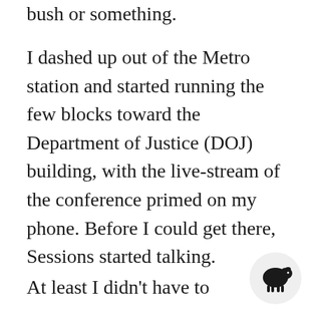bush or something.
I dashed up out of the Metro station and started running the few blocks toward the Department of Justice (DOJ) building, with the live-stream of the conference primed on my phone. Before I could get there, Sessions started talking.
At least I didn't have to
[Figure (illustration): Black silhouette of a sheep on a light circular background, bottom right corner]